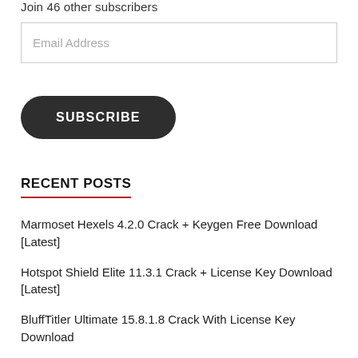Join 46 other subscribers
Email Address
SUBSCRIBE
RECENT POSTS
Marmoset Hexels 4.2.0 Crack + Keygen Free Download [Latest]
Hotspot Shield Elite 11.3.1 Crack + License Key Download [Latest]
BluffTitler Ultimate 15.8.1.8 Crack With License Key Download
IOBIT Uninstaller Pro 10.0.0.10 Crack + Full K…